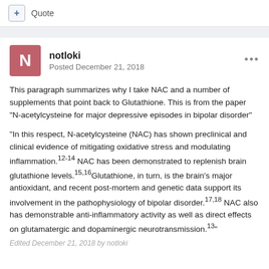+ Quote
notloki
Posted December 21, 2018
This paragraph summarizes why I take NAC and a number of supplements that point back to Glutathione. This is from the paper "N-acetylcysteine for major depressive episodes in bipolar disorder"
"In this respect, N-acetylcysteine (NAC) has shown preclinical and clinical evidence of mitigating oxidative stress and modulating inflammation.12-14 NAC has been demonstrated to replenish brain glutathione levels.15,16Glutathione, in turn, is the brain's major antioxidant, and recent post-mortem and genetic data support its involvement in the pathophysiology of bipolar disorder.17,18 NAC also has demonstrable anti-inflammatory activity as well as direct effects on glutamatergic and dopaminergic neurotransmission.13"
Edited December 21, 2018 by notloki